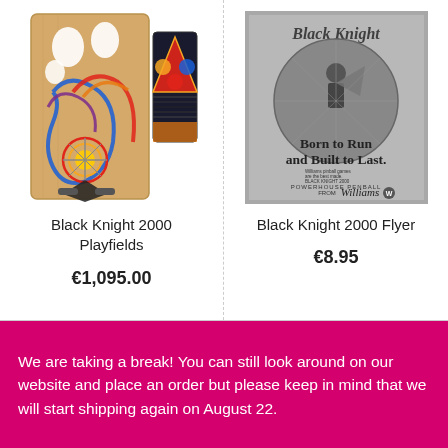[Figure (photo): Black Knight 2000 pinball playfields — main playfield board with colorful artwork and a smaller backboard piece]
Black Knight 2000 Playfields
€1,095.00
[Figure (photo): Black Knight 2000 pinball machine promotional flyer in black and white, showing armored knight artwork and text 'Born to Run and Built to Last. Powerhouse Penball from Williams']
Black Knight 2000 Flyer
€8.95
We are taking a break! You can still look around on our website and place an order but please keep in mind that we will start shipping again on August 22.